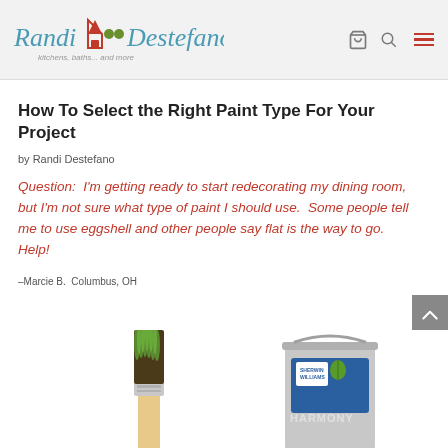Randi Destefano — kitchens, baths... and more
How To Select the Right Paint Type For Your Project
by Randi Destefano
Question:  I'm getting ready to start redecorating my dining room, but I'm not sure what type of paint I should use.  Some people tell me to use eggshell and other people say flat is the way to go.  Help!
–Marcie B.  Columbus, OH
[Figure (photo): A paintbrush with grass growing from its bristles next to a Sherwin-Williams Harmony paint can]